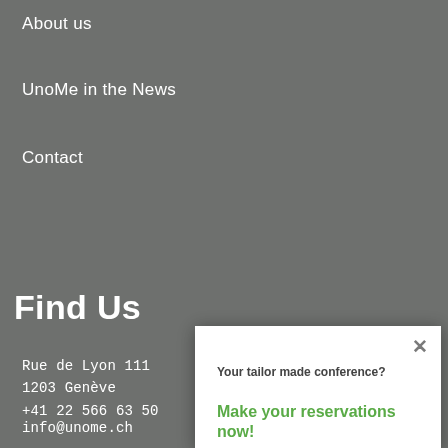About us
UnoMe in the News
Contact
Find Us
Rue de Lyon 111
1203 Genève
+41 22 566 63 50
info@unome.ch
[Figure (other): LinkedIn icon (in)]
Newsletter
Your tailor made conference?
Make your reservations now!
In this way we can better respond to your requirements and create a